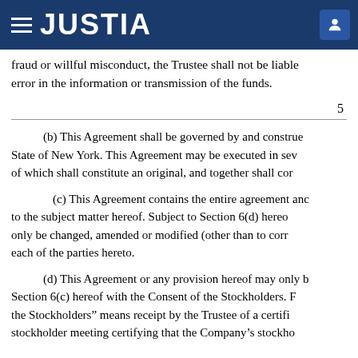JUSTIA
fraud or willful misconduct, the Trustee shall not be liable error in the information or transmission of the funds.
5
(b) This Agreement shall be governed by and construed State of New York. This Agreement may be executed in several counterparts, of which shall constitute an original, and together shall con
(c) This Agreement contains the entire agreement and to the subject matter hereof. Subject to Section 6(d) hereof, only be changed, amended or modified (other than to correct each of the parties hereto.
(d) This Agreement or any provision hereof may only be Section 6(c) hereof with the Consent of the Stockholders. the Stockholders" means receipt by the Trustee of a certifi stockholder meeting certifying that the Company's stockho